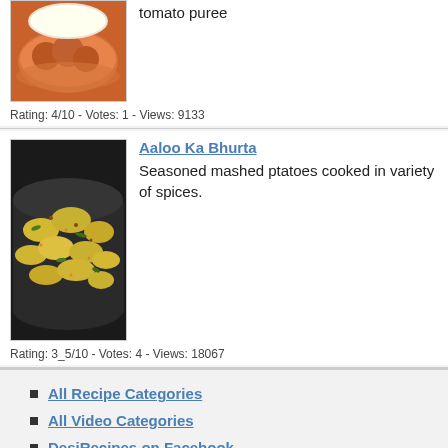[Figure (photo): Photo of a curry dish with meatballs in tomato sauce in a white bowl]
tomato puree
Rating: 4/10 - Votes: 1 - Views: 9133
[Figure (photo): Photo of Aaloo Ka Bhurta - seasoned mashed potatoes in a dark bowl with herbs and spices]
Aaloo Ka Bhurta
Seasoned mashed ptatoes cooked in variety of spices.
Rating: 3_5/10 - Votes: 4 - Views: 18067
All Recipe Categories
All Video Categories
DesiRecipes on Facebook